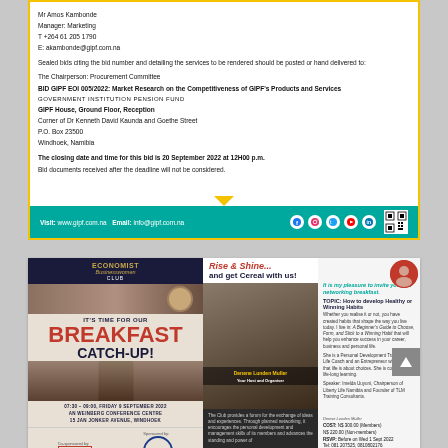Mr Amos Kambonde
Manager: Marketing
T +264 61 205 1790
E: akambonde@gipf.com.na
Sealed bids citing the bid number and detailing the services to be rendered should be posted or hand delivered to:
The Chairperson: Procurement Committee
BID GIPF EOI 005/2022: Market Research on the Competitiveness of GIPF's Products and Services
GOVERNMENT INSTITUTION PENSION FUND
GIPF House, Ground Floor, Reception
Corner of Dr Kenneth David Kaunda and Goethe Street
P.O. Box 23500
Windhoek, Namibia
The closing date and time for this bid is 20 September 2022 at 12H00 p.m.
Bid documents received after the deadline will not be considered.
Visit: www.gipf.com.na  Email: info@gipf.com.na
[Figure (infographic): Economist Businesswomen Club Breakfast Catch-Up event advertisement. Date: 07:30-09:00, Friday 9 September 2022, at Weinberg Conference Centre, 15 Jan Jonker Avenue, Windhoek. Co-sponsored by Economist and Liberty.]
[Figure (infographic): Rise & Shine and get Cereal with us! Networking breakfast invitation with speaker photo. Topic: How to develop Healthy or Winning Habits. Speaker: Denene Lunden Muller, Your Host and Organiser. Cost: N$ 300.00 (Members), N$ 220.00 (Non-members). Register before Wed 1 Sept 2022.]